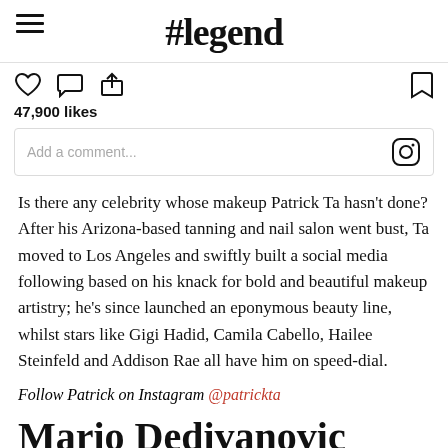#legend
47,900 likes
Add a comment...
Is there any celebrity whose makeup Patrick Ta hasn't done? After his Arizona-based tanning and nail salon went bust, Ta moved to Los Angeles and swiftly built a social media following based on his knack for bold and beautiful makeup artistry; he's since launched an eponymous beauty line, whilst stars like Gigi Hadid, Camila Cabello, Hailee Steinfeld and Addison Rae all have him on speed-dial.
Follow Patrick on Instagram @patrickta
Mario Dedivanovic